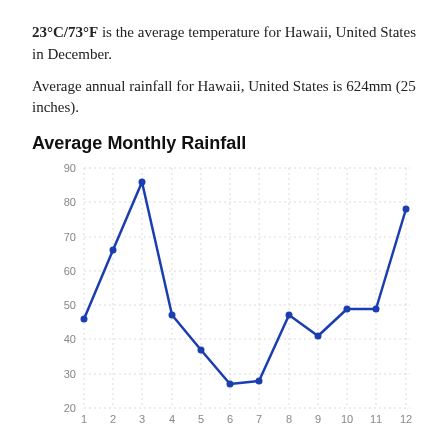23°C/73°F is the average temperature for Hawaii, United States in December.
Average annual rainfall for Hawaii, United States is 624mm (25 inches).
Average Monthly Rainfall
[Figure (line-chart): Average Monthly Rainfall]